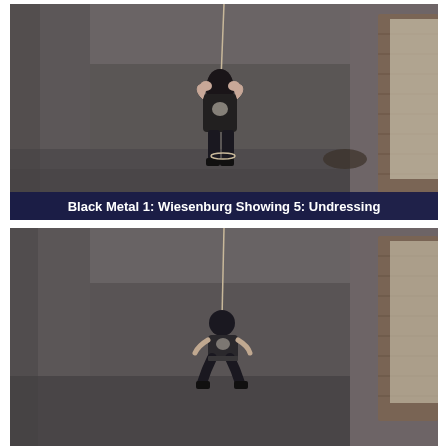[Figure (photo): Video still from performance artwork. A person with dark hair stands in the center of a large, dimly lit industrial room with grey concrete floors and walls. A rope descends from the ceiling to the figure. A window with brick surround is visible on the right. A dark cloth or object lies on the floor behind the figure.]
Black Metal 1: Wiesenburg Showing 5: Undressing
[Figure (photo): Second video still from same performance artwork. The same large industrial space. The figure is now lower, appearing to crouch or hang from the rope, wearing dark shorts and top. The same brick window is visible on the right.]